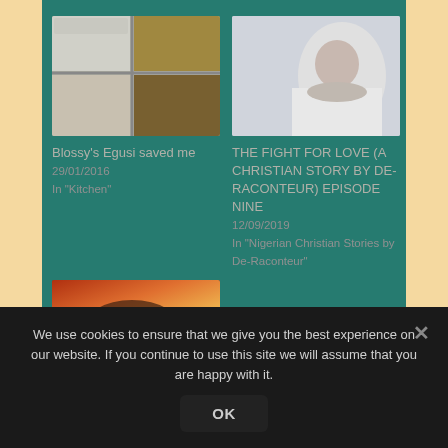[Figure (photo): Food image showing containers with egusi or similar Nigerian dish on a stovetop grid]
Blossy's Egusi saved me
29/01/2016
In "Kitchen"
[Figure (photo): Young girl lying on bed with hands clasped under chin, looking thoughtful]
THE FIGHT FOR LOVE (A CHRISTIAN STORY BY DE-RACONTEUR) EPISODE NINE
12/09/2019
In "Nigerian Christian Stories by De-Raconteur"
[Figure (photo): Partial bottom image with warm orange/fire tones]
We use cookies to ensure that we give you the best experience on our website. If you continue to use this site we will assume that you are happy with it.